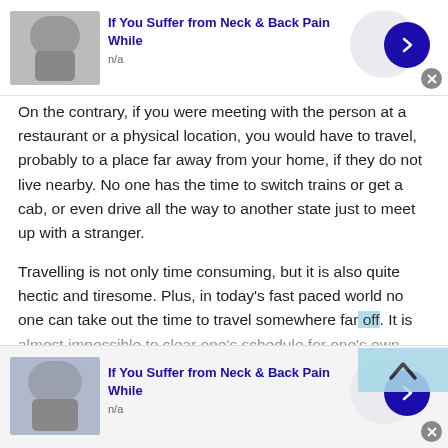[Figure (other): Advertisement banner: photo of elderly man touching neck/back, headline 'If You Suffer from Neck & Back Pain While', subtext 'n/a', blue arrow button, close button]
On the contrary, if you were meeting with the person at a restaurant or a physical location, you would have to travel, probably to a place far away from your home, if they do not live nearby. No one has the time to switch trains or get a cab, or even drive all the way to another state just to meet up with a stranger.
Travelling is not only time consuming, but it is also quite hectic and tiresome. Plus, in today’s fast paced world no one can take out the time to travel somewhere far off. It is almost impossible to clear one’s schedule for one’s own…
[Figure (other): Advertisement banner at bottom: photo of person touching neck/jaw area, headline 'If You Suffer from Neck & Back Pain While', subtext 'n/a', blue arrow button, close button]